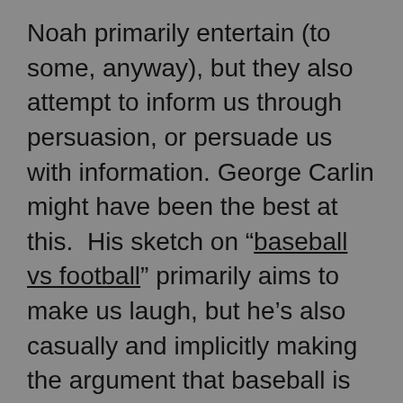Noah primarily entertain (to some, anyway), but they also attempt to inform us through persuasion, or persuade us with information. George Carlin might have been the best at this.  His sketch on “baseball vs football” primarily aims to make us laugh, but he’s also casually and implicitly making the argument that baseball is soft, while football is hard. Carlin reduces an argument about baseball and football to the absurd and forces it to serve his purpose of entertaining huge audiences. It’s something he was brilliant at.  As one begins the process of writing, awareness of one’s purpose provides direction.